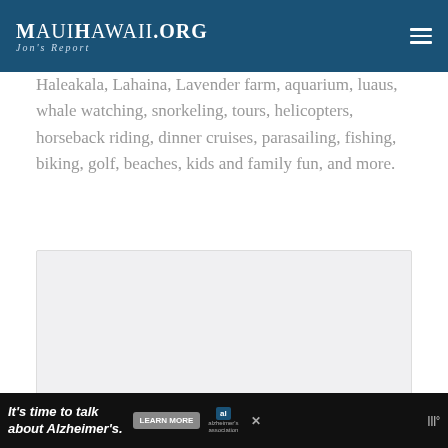MauiHawaii.org — Jon's Report
Haleakala, Lahaina, Lavender farm, aquarium, luaus, whale watching, snorkeling, tours, helicopters, horseback riding, dinner cruises, parasailing, fishing, biking, golf, beaches, kids and family fun, and more.
[Figure (other): Image carousel placeholder with three navigation dots below]
It's time to talk about Alzheimer's. LEARN MORE